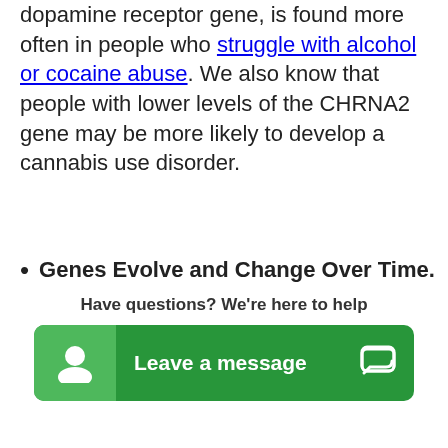dopamine receptor gene, is found more often in people who struggle with alcohol or cocaine abuse. We also know that people with lower levels of the CHRNA2 gene may be more likely to develop a cannabis use disorder.
Genes Evolve and Change Over Time. Epigenetics research has found that genes, themselves, can change and evolve over time. This can make pinpointing specific genes involved with addiction more difficult than it already is. That doesn't take away from the findings we already have, but it does tell us that we still have a lot to learn
Have questions? We're here to help
[Figure (infographic): Green chat widget button with person icon on left and 'Leave a message' text with chat bubble icon on right]